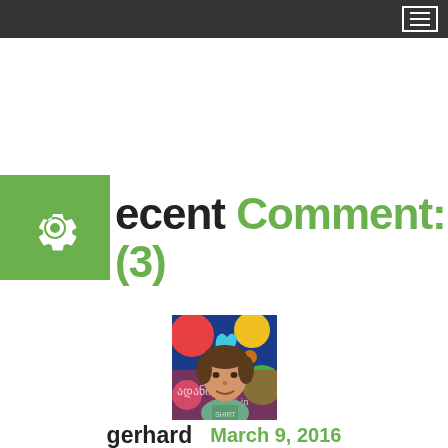Navigation menu bar (top dark bar with hamburger icon)
Recent Comment: (3)
[Figure (photo): Avatar/profile photo of user gerhard — a man seated in front of a colorful background with hearts and decorative patterns]
gerhard   March 9, 2016
This book is a treatise on the theory of ethics, very popular during the Renaissance. The first line of Lorem Ipsum, "Lorem ipsum dolor sit amet..", comes from a line in section 1.10.32.
Reply